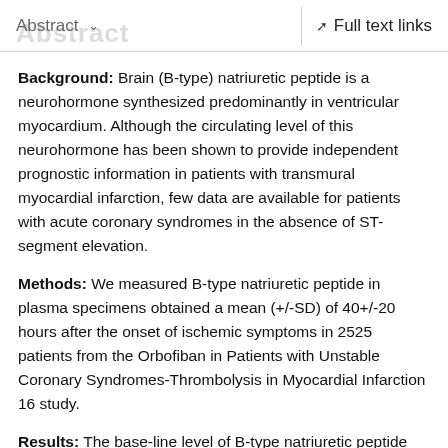Abstract  ∨   Full text links
Background: Brain (B-type) natriuretic peptide is a neurohormone synthesized predominantly in ventricular myocardium. Although the circulating level of this neurohormone has been shown to provide independent prognostic information in patients with transmural myocardial infarction, few data are available for patients with acute coronary syndromes in the absence of ST-segment elevation.
Methods: We measured B-type natriuretic peptide in plasma specimens obtained a mean (+/-SD) of 40+/-20 hours after the onset of ischemic symptoms in 2525 patients from the Orbofiban in Patients with Unstable Coronary Syndromes-Thrombolysis in Myocardial Infarction 16 study.
Results: The base-line level of B-type natriuretic peptide was correlated with the risk of death, heart failure, and...